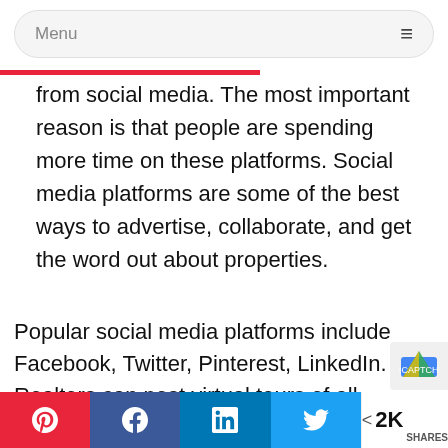Menu
from social media. The most important reason is that people are spending more time on these platforms. Social media platforms are some of the best ways to advertise, collaborate, and get the word out about properties.
Popular social media platforms include Facebook, Twitter, Pinterest, LinkedIn. Realtors can post virtual tours of all available properties on their Twitter or Facebook pages. That post can be given a boost for a
< 2K SHARES